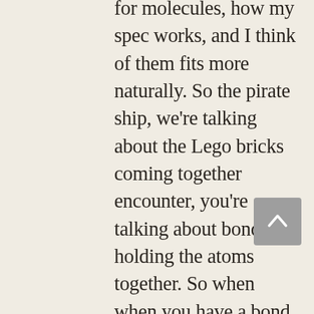for molecules, how my spec works, and I think of them fits more naturally. So the pirate ship, we're talking about the Lego bricks coming together encounter, you're talking about bonds holding the atoms together. So when when you have a bond in the molecule, that bond basically is a is a specific interaction that when you look at some colors, and you look at heat, you know, when you look at infrared, that's evidence of these bonds moving. Now, if you were to take a photograph of some molecules using infrared radiation, you've got lots of different colors coming out. And roughly speaking, each